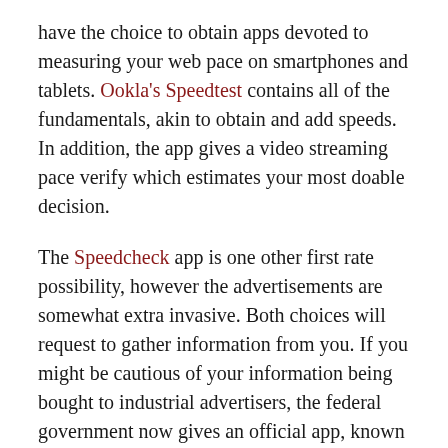have the choice to obtain apps devoted to measuring your web pace on smartphones and tablets. Ookla's Speedtest contains all of the fundamentals, akin to obtain and add speeds. In addition, the app gives a video streaming pace verify which estimates your most doable decision.
The Speedcheck app is one other first rate possibility, however the advertisements are somewhat extra invasive. Both choices will request to gather information from you. If you might be cautious of your information being bought to industrial advertisers, the federal government now gives an official app, known as the FCC Speed Test, that will provide you with related info.